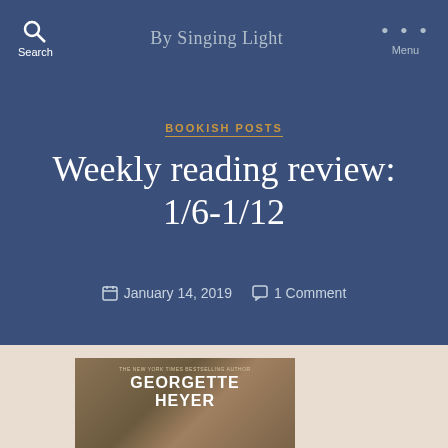By Singing Light
BOOKISH POSTS
Weekly reading review: 1/6-1/12
January 14, 2019   1 Comment
[Figure (photo): Book cover showing Georgette Heyer author name on a dark illustrated background]